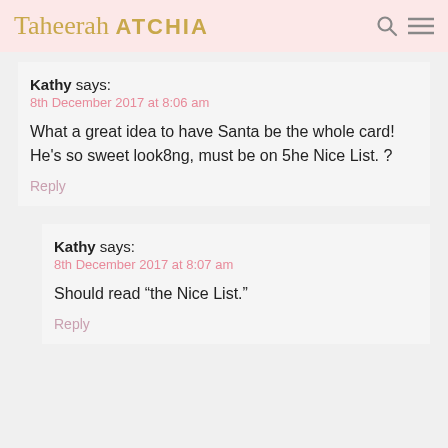Taheerah ATCHIA
Kathy says:
8th December 2017 at 8:06 am

What a great idea to have Santa be the whole card! He’s so sweet look8ng, must be on 5he Nice List. ?

Reply
Kathy says:
8th December 2017 at 8:07 am

Should read “the Nice List.”

Reply